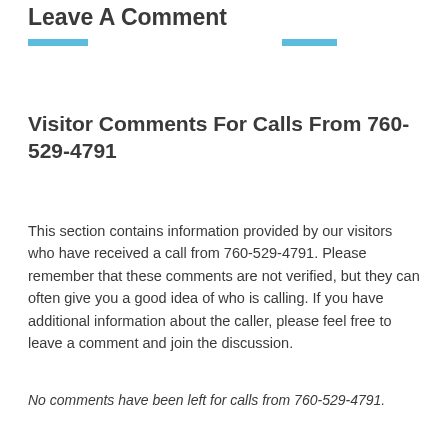Leave A Comment
Visitor Comments For Calls From 760-529-4791
This section contains information provided by our visitors who have received a call from 760-529-4791. Please remember that these comments are not verified, but they can often give you a good idea of who is calling. If you have additional information about the caller, please feel free to leave a comment and join the discussion.
No comments have been left for calls from 760-529-4791.